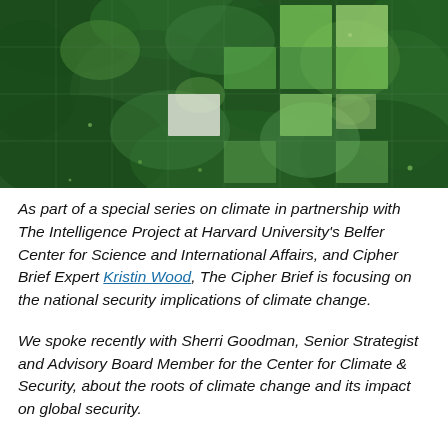[Figure (photo): A lush green forest canopy photographed from below or at an angle, overlaid with a grid of translucent colored squares in varying shades of green and one lighter/white square, suggesting data visualization or remote sensing overlay on the natural scene.]
As part of a special series on climate in partnership with The Intelligence Project at Harvard University's Belfer Center for Science and International Affairs, and Cipher Brief Expert Kristin Wood, The Cipher Brief is focusing on the national security implications of climate change.
We spoke recently with Sherri Goodman, Senior Strategist and Advisory Board Member for the Center for Climate & Security, about the roots of climate change and its impact on global security.